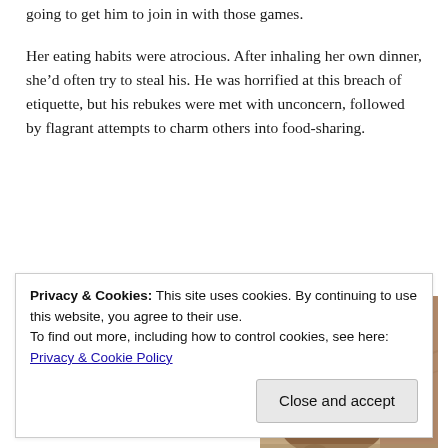going to get him to join in with those games.
Her eating habits were atrocious. After inhaling her own dinner, she’d often try to steal his. He was horrified at this breach of etiquette, but his rebukes were met with unconcern, followed by flagrant attempts to charm others into food-sharing.
And everywhere he went, she was there. Bumping her hip against his when they walked side-by-side,
[Figure (photo): A dog lying on or near a couch, brown/tan coloring, appears to be resting on cushions]
Privacy & Cookies: This site uses cookies. By continuing to use this website, you agree to their use.
To find out more, including how to control cookies, see here: Privacy & Cookie Policy
Close and accept